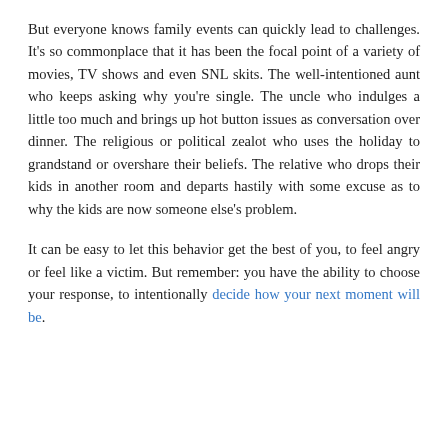But everyone knows family events can quickly lead to challenges. It's so commonplace that it has been the focal point of a variety of movies, TV shows and even SNL skits. The well-intentioned aunt who keeps asking why you're single. The uncle who indulges a little too much and brings up hot button issues as conversation over dinner. The religious or political zealot who uses the holiday to grandstand or overshare their beliefs. The relative who drops their kids in another room and departs hastily with some excuse as to why the kids are now someone else's problem.
It can be easy to let this behavior get the best of you, to feel angry or feel like a victim. But remember: you have the ability to choose your response, to intentionally decide how your next moment will be.